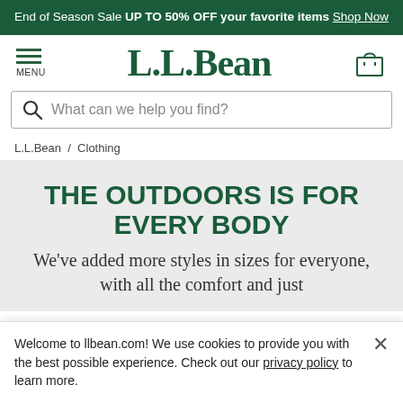End of Season Sale UP TO 50% OFF your favorite items Shop Now
[Figure (logo): L.L.Bean logo with hamburger menu icon on left and shopping bag icon on right]
What can we help you find?
L.L.Bean / Clothing
THE OUTDOORS IS FOR EVERY BODY
We've added more styles in sizes for everyone, with all the comfort and just
Welcome to llbean.com! We use cookies to provide you with the best possible experience. Check out our privacy policy to learn more.